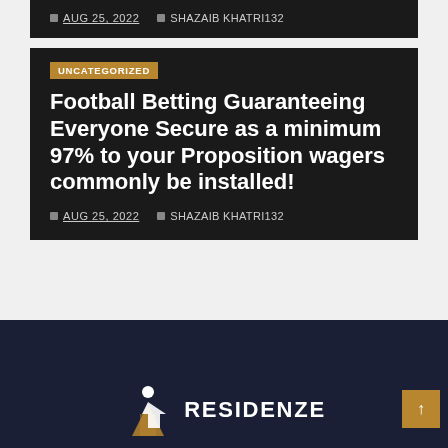AUG 25, 2022  SHAZAIB KHATRI132
Football Betting Guaranteeing Everyone Secure as a minimum 97% to your Proposition wagers commonly be installed!
AUG 25, 2022  SHAZAIB KHATRI132
[Figure (logo): Residenze logo with stylized figure icon and text RESIDENZE]
RESIDENZE